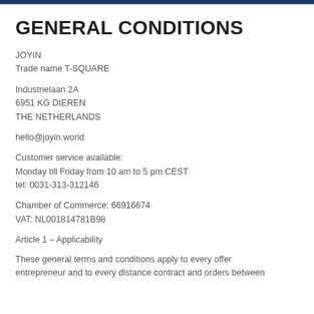GENERAL CONDITIONS
JOYIN
Trade name T-SQUARE
Industrielaan 2A
6951 KG DIEREN
THE NETHERLANDS
hello@joyin.world
Customer service available:
Monday till Friday from 10 am to 5 pm CEST
tel: 0031-313-312146
Chamber of Commerce: 66916674
VAT: NL001814781B98
Article 1 – Applicability
These general terms and conditions apply to every offer entrepreneur and to every distance contract and orders between